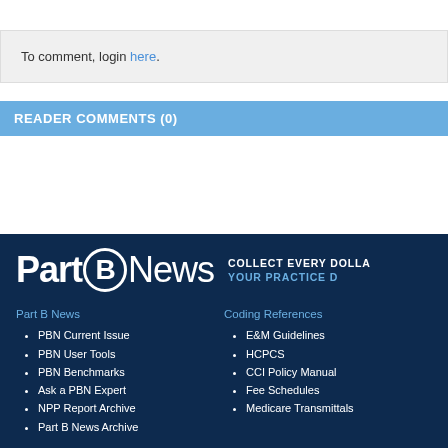To comment, login here.
READER COMMENTS (0)
[Figure (logo): Part B News logo with tagline: COLLECT EVERY DOLLAR YOUR PRACTICE DESERVES]
Part B News
PBN Current Issue
PBN User Tools
PBN Benchmarks
Ask a PBN Expert
NPP Report Archive
Part B News Archive
Coding References
E&M Guidelines
HCPCS
CCI Policy Manual
Fee Schedules
Medicare Transmittals